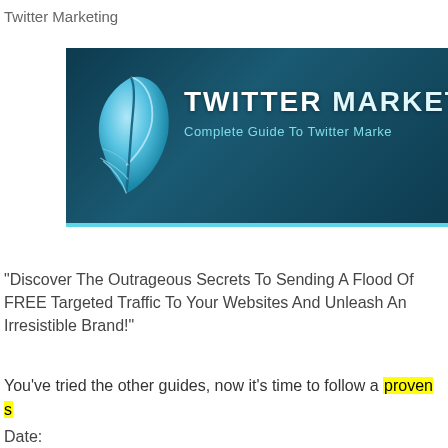Twitter Marketing
[Figure (illustration): Twitter Marketing banner with dark teal background, a blue feather logo on the left, and white bold text reading 'TWITTER MARKETING' with subtitle 'Complete Guide To Twitter Marketing' and a cyan bottom border]
"Discover The Outrageous Secrets To Sending A Flood Of FREE Targeted Traffic To Your Websites And Unleash An Irresistible Brand!"
You've tried the other guides, now it's time to follow a proven s
Date: